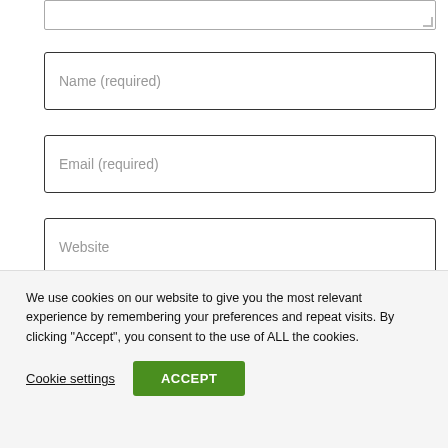(textarea top)
Name (required)
Email (required)
Website
Save my name, email, and website in this browser
We use cookies on our website to give you the most relevant experience by remembering your preferences and repeat visits. By clicking “Accept”, you consent to the use of ALL the cookies.
Cookie settings
ACCEPT